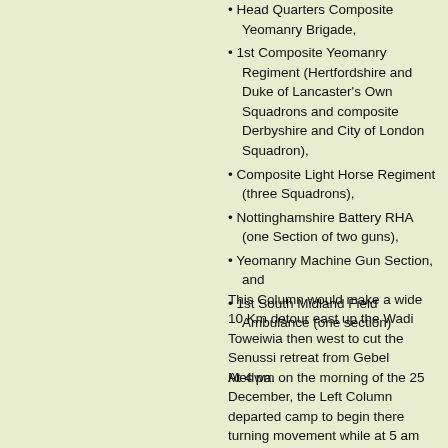Head Quarters Composite Yeomanry Brigade,
1st Composite Yeomanry Regiment (Hertfordshire and Duke of Lancaster's Own Squadrons and composite Derbyshire and City of London Squadron),
Composite Light Horse Regiment (three Squadrons),
Nottinghamshire Battery RHA (one Section of two guns),
Yeomanry Machine Gun Section, and
1st South Midland Field Ambulance (one section)
This Column would make a wide 10 Km detour east up the Wadi Toweiwia then west to cut the Senussi retreat from Gebel Medwa.
At 4 pm on the morning of the 25 December, the Left Column departed camp to begin there turning movement while at 5 am the Right Column started their march as the Buckinghamshire Yeomanry in front screened the column while the 15th Sikhs, 1st Battalion New Zealand Rifle Brigade and the 2/8th